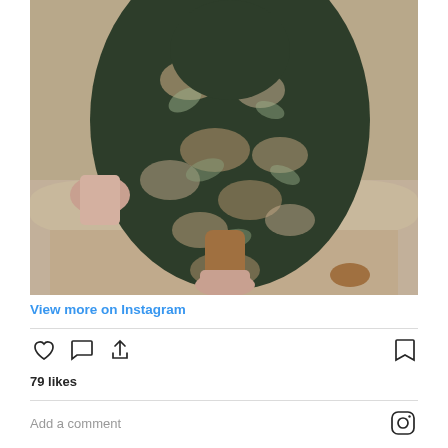[Figure (photo): Fashion photo of a woman wearing a dark floral jacquard dress with pink and gold leaf patterns, seated on stone ledge, wearing pink fringe high-heel shoes.]
View more on Instagram
79 likes
Add a comment